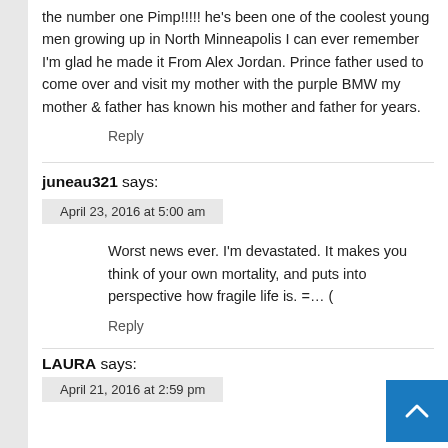the number one Pimp!!!!! he's been one of the coolest young men growing up in North Minneapolis I can ever remember I'm glad he made it From Alex Jordan. Prince father used to come over and visit my mother with the purple BMW my mother & father has known his mother and father for years.
Reply
juneau321 says:
April 23, 2016 at 5:00 am
Worst news ever. I'm devastated. It makes you think of your own mortality, and puts into perspective how fragile life is. =… (
Reply
LAURA says:
April 21, 2016 at 2:59 pm